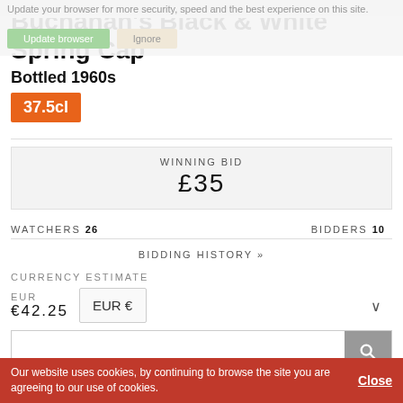Update your browser for more security, speed and the best experience on this site.
Buchanan's Black & White Spring Cap
Bottled 1960s
37.5cl
WINNING BID £35
WATCHERS 26   BIDDERS 10
BIDDING HISTORY »
CURRENCY ESTIMATE
EUR €42.25
Our website uses cookies, by continuing to browse the site you are agreeing to our use of cookies.   Close